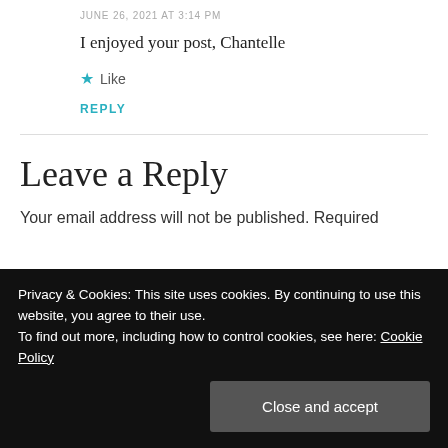JUNE 26, 2021 AT 3:14 PM
I enjoyed your post, Chantelle
★ Like
REPLY
Leave a Reply
Your email address will not be published. Required
Privacy & Cookies: This site uses cookies. By continuing to use this website, you agree to their use.
To find out more, including how to control cookies, see here: Cookie Policy
Close and accept